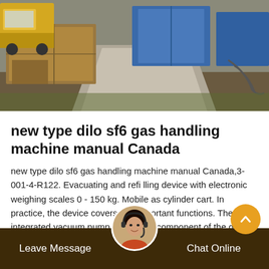[Figure (photo): Outdoor industrial scene showing a yellow truck, blue storage containers, a concrete ramp/walkway, and construction equipment in the background.]
new type dilo sf6 gas handling machine manual Canada
new type dilo sf6 gas handling machine manual Canada,3-001-4-R122. Evacuating and refi lling device with electronic weighing scales 0 - 150 kg. Mobile as cylinder cart. In practice, the device covers two important functions. The integrated vacuum pump is the core component of the device. This vacuum pump evacuates the air down to < 1 mbar so that no air/gas mixture is produced during the
[Figure (photo): Circular avatar/headshot of a female customer service agent wearing a headset, used as a chat widget button in the footer bar.]
Leave Message   Chat Online